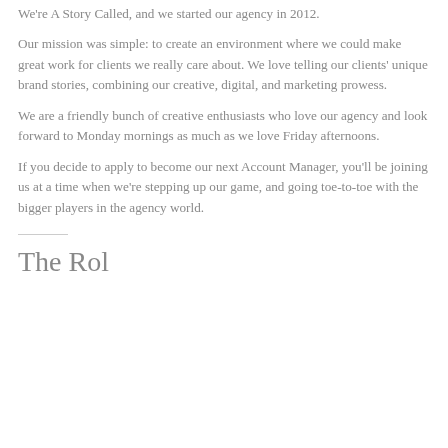We're A Story Called, and we started our agency in 2012.
Our mission was simple: to create an environment where we could make great work for clients we really care about. We love telling our clients' unique brand stories, combining our creative, digital, and marketing prowess.
We are a friendly bunch of creative enthusiasts who love our agency and look forward to Monday mornings as much as we love Friday afternoons.
If you decide to apply to become our next Account Manager, you'll be joining us at a time when we're stepping up our game, and going toe-to-toe with the bigger players in the agency world.
The Rol...